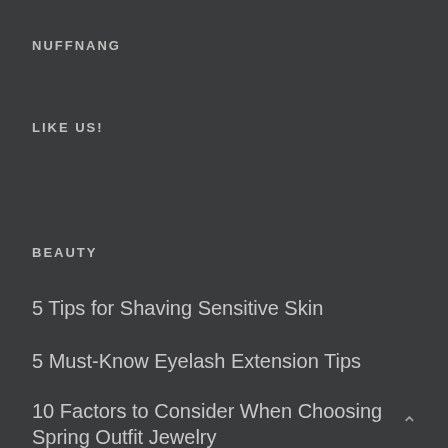NUFFNANG
LIKE US!
BEAUTY
5 Tips for Shaving Sensitive Skin
5 Must-Know Eyelash Extension Tips
10 Factors to Consider When Choosing Spring Outfit Jewelry